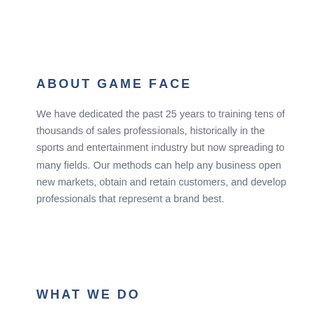ABOUT GAME FACE
We have dedicated the past 25 years to training tens of thousands of sales professionals, historically in the sports and entertainment industry but now spreading to many fields. Our methods can help any business open new markets, obtain and retain customers, and develop professionals that represent a brand best.
WHAT WE DO